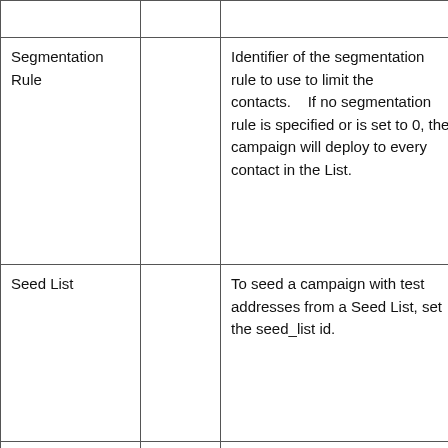|  |  |  |  |
| Segmentation Rule |  | Identifier of the segmentation rule to use to limit the contacts.    If no segmentation rule is specified or is set to 0, the campaign will deploy to every contact in the List. | segmentation_id=[segmentation_rule... |
| Seed List |  | To seed a campaign with test addresses from a Seed List, set the seed_list id. | seed_list_id=[seed_... |
|  |  | To suppress contacts in the list from receiving... |  |